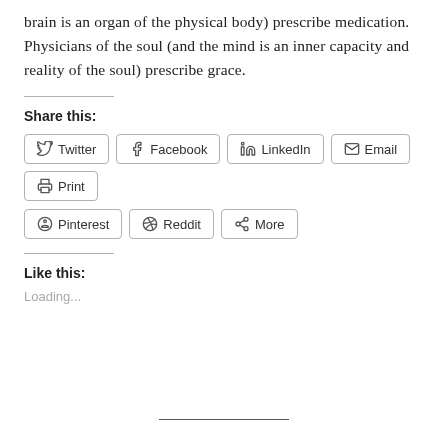brain is an organ of the physical body) prescribe medication. Physicians of the soul (and the mind is an inner capacity and reality of the soul) prescribe grace.
Share this:
Twitter Facebook LinkedIn Email Print Pinterest Reddit More
Like this:
Loading...